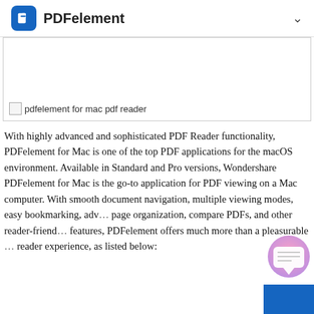PDFelement
[Figure (screenshot): Broken image placeholder for 'pdfelement for mac pdf reader' screenshot]
pdfelement for mac pdf reader
With highly advanced and sophisticated PDF Reader functionality, PDFelement for Mac is one of the top PDF applications for the macOS environment. Available in Standard and Pro versions, Wondershare PDFelement for Mac is the go-to application for PDF viewing on a Mac computer. With smooth document navigation, multiple viewing modes, easy bookmarking, adv... page organization, compare PDFs, and other reader-friend... features, PDFelement offers much more than a pleasurable ... reader experience, as listed below: